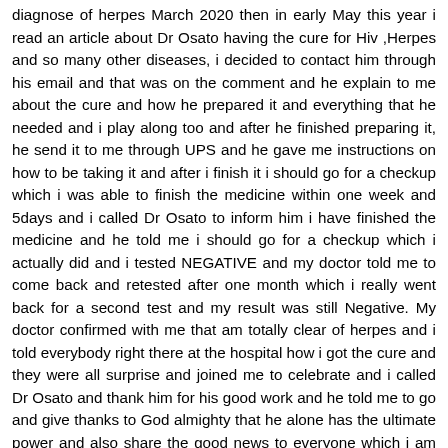diagnose of herpes March 2020 then in early May this year i read an article about Dr Osato having the cure for Hiv ,Herpes and so many other diseases, i decided to contact him through his email and that was on the comment and he explain to me about the cure and how he prepared it and everything that he needed and i play along too and after he finished preparing it, he send it to me through UPS and he gave me instructions on how to be taking it and after i finish it i should go for a checkup which i was able to finish the medicine within one week and 5days and i called Dr Osato to inform him i have finished the medicine and he told me i should go for a checkup which i actually did and i tested NEGATIVE and my doctor told me to come back and retested after one month which i really went back for a second test and my result was still Negative. My doctor confirmed with me that am totally clear of herpes and i told everybody right there at the hospital how i got the cure and they were all surprise and joined me to celebrate and i called Dr Osato and thank him for his good work and he told me to go and give thanks to God almighty that he alone has the ultimate power and also share the good news to everyone which i am doing right now by writing this beautif...